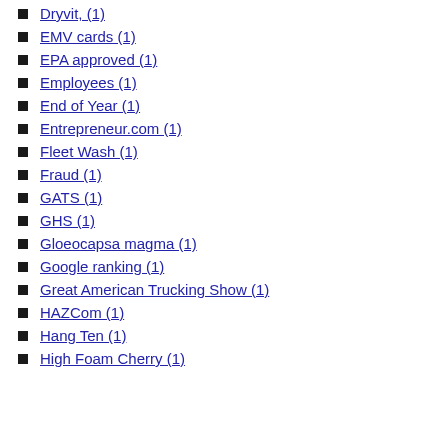Dryvit, (1)
EMV cards (1)
EPA approved (1)
Employees (1)
End of Year (1)
Entrepreneur.com (1)
Fleet Wash (1)
Fraud (1)
GATS (1)
GHS (1)
Gloeocapsa magma (1)
Google ranking (1)
Great American Trucking Show (1)
HAZCom (1)
Hang Ten (1)
High Foam Cherry (1)